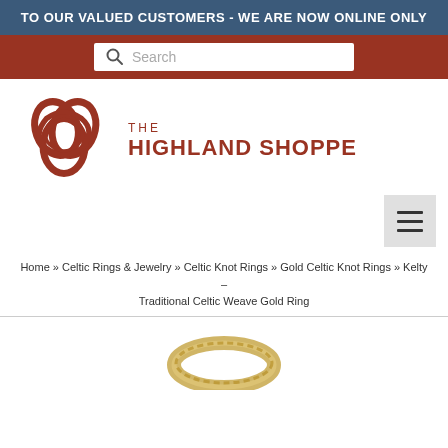TO OUR VALUED CUSTOMERS - WE ARE NOW ONLINE ONLY
[Figure (logo): Search bar with magnifying glass icon on dark red background]
[Figure (logo): The Highland Shoppe logo with Celtic knot emblem and brand name in red]
Home » Celtic Rings & Jewelry » Celtic Knot Rings » Gold Celtic Knot Rings » Kelty – Traditional Celtic Weave Gold Ring
[Figure (photo): Partial product photo of a gold Celtic weave ring at bottom of page]